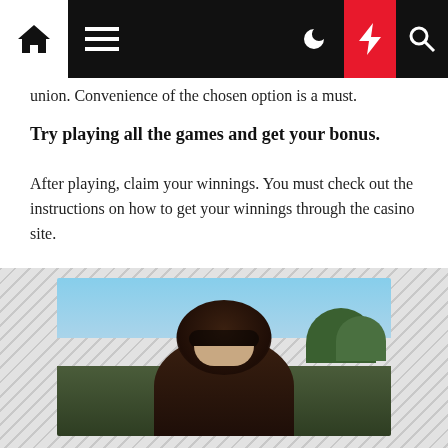[Navigation bar with home, menu, dark mode, flash, and search icons]
union. Convenience of the chosen option is a must.
Try playing all the games and get your bonus.
After playing, claim your winnings. You must check out the instructions on how to get your winnings through the casino site.
Share
[Figure (screenshot): Share buttons row with plus, Facebook, plus, Twitter, plus, Pinterest, and LinkedIn icons on rounded rectangular buttons]
[Figure (photo): Photo of a person with dark hair and sunglasses with trees and sky in the background]